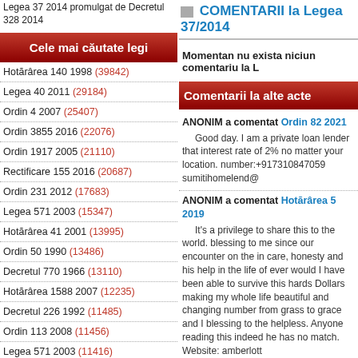Legea 37 2014 promulgat de Decretul 328 2014
Cele mai căutate legi
Hotărârea 140 1998 (39842)
Legea 40 2011 (29184)
Ordin 4 2007 (25407)
Ordin 3855 2016 (22076)
Ordin 1917 2005 (21110)
Rectificare 155 2016 (20687)
Ordin 231 2012 (17683)
Legea 571 2003 (15347)
Hotărârea 41 2001 (13995)
Ordin 50 1990 (13486)
Decretul 770 1966 (13110)
Hotărârea 1588 2007 (12235)
Decretul 226 1992 (11485)
Ordin 113 2008 (11456)
Legea 571 2003 (11416)
Decretul 1097 2004 (11304)
Legea 189 2000 (11133)
Legea 215 2001 (10609)
COMENTARII la Legea 37/2014
Momentan nu exista niciun comentariu la L
Comentarii la alte acte
ANONIM a comentat Ordin 82 2021
Good day. I am a private loan lender that interest rate of 2% no matter your location. number:+917310847059 sumitihomelend@
ANONIM a comentat Hotărârea 5 2019
It's a privilege to share this to the world. blessing to me since our encounter on the in care, honesty and his help in the life of ever would I have been able to survive this hards Dollars making my whole life beautiful and changing number from grass to grace and I blessing to the helpless. Anyone reading this indeed he has no match. Website: amberlott